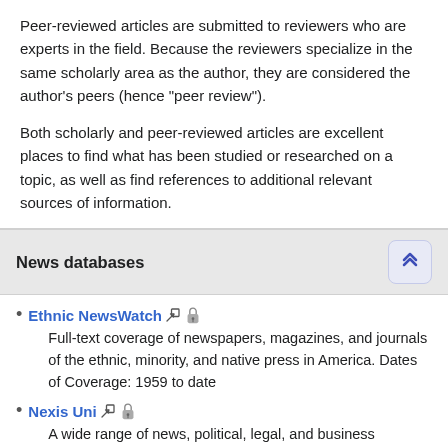Peer-reviewed articles are submitted to reviewers who are experts in the field. Because the reviewers specialize in the same scholarly area as the author, they are considered the author's peers (hence "peer review").
Both scholarly and peer-reviewed articles are excellent places to find what has been studied or researched on a topic, as well as find references to additional relevant sources of information.
News databases
Ethnic NewsWatch - Full-text coverage of newspapers, magazines, and journals of the ethnic, minority, and native press in America. Dates of Coverage: 1959 to date
Nexis Uni - A wide range of news, political, legal, and business information from thousands of sources, mostly full text. Includes newspapers, magazines, wire services, federal and state court opinions, federal and state statutes, federal regulations, and SEC filings. News information is updated daily and wire services several times daily.